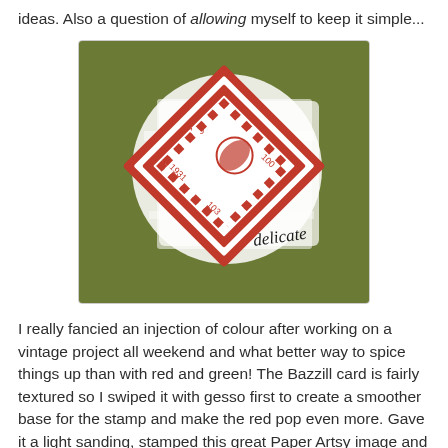ideas. Also a question of allowing myself to keep it simple...
[Figure (photo): A green card/craft project with a red vintage stamp image embossed on a white gesso-swiped area, with the word 'delicate' stamped in black text in the lower right area of the card.]
I really fancied an injection of colour after working on a vintage project all weekend and what better way to spice things up than with red and green! The Bazzill card is fairly textured so I swiped it with gesso first to create a smoother base for the stamp and make the red pop even more. Gave it a light sanding, stamped this great Paper Artsy image and embossed with Fired Brick Distress powder. Stamped a simple word in black Archival. I distressed the card edges and added some cotton string to keep up the slightly raw